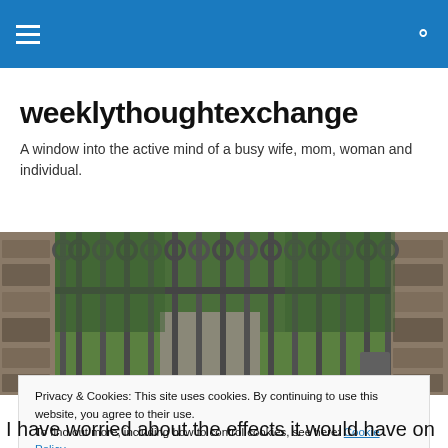weeklythoughtexchange — navigation bar
weeklythoughtexchange
A window into the active mind of a busy wife, mom, woman and individual.
[Figure (photo): Photo of an ornate metal garden gate with stone pillars, green grass and a path visible beyond]
Privacy & Cookies: This site uses cookies. By continuing to use this website, you agree to their use.
To find out more, including how to control cookies, see here: Cookie Policy
[Close and accept button]
I have worried about the effects it would have on my ability